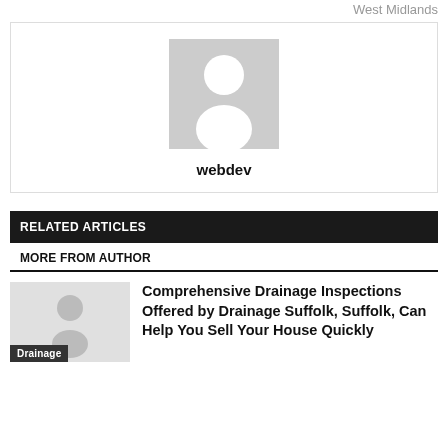West Midlands
[Figure (photo): Generic user avatar placeholder image with a gray background showing a silhouette of a person (head and shoulders). Below the image the username 'webdev' is displayed in bold.]
webdev
RELATED ARTICLES
MORE FROM AUTHOR
[Figure (photo): Small thumbnail image placeholder with gray background and a small user silhouette icon. A dark 'Drainage' label is shown at the bottom of the image.]
Comprehensive Drainage Inspections Offered by Drainage Suffolk, Suffolk, Can Help You Sell Your House Quickly